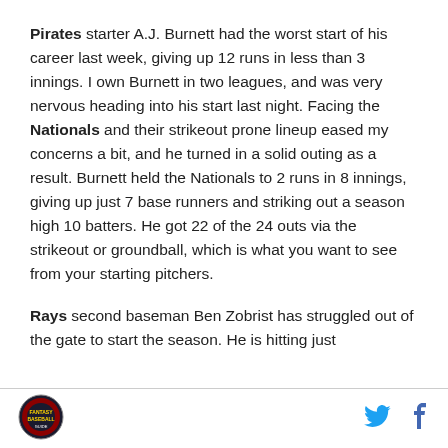Pirates starter A.J. Burnett had the worst start of his career last week, giving up 12 runs in less than 3 innings. I own Burnett in two leagues, and was very nervous heading into his start last night. Facing the Nationals and their strikeout prone lineup eased my concerns a bit, and he turned in a solid outing as a result. Burnett held the Nationals to 2 runs in 8 innings, giving up just 7 base runners and striking out a season high 10 batters. He got 22 of the 24 outs via the strikeout or groundball, which is what you want to see from your starting pitchers.
Rays second baseman Ben Zobrist has struggled out of the gate to start the season. He is hitting just
[logo] [twitter] [facebook]